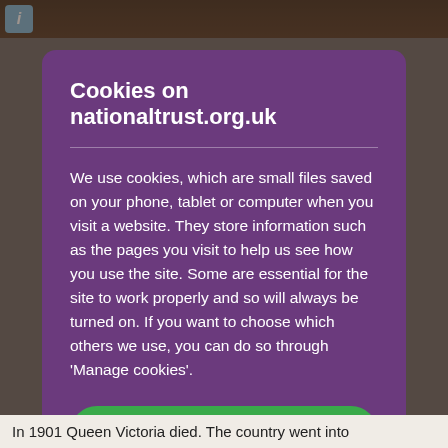[Figure (screenshot): Dark background photo strip at top of page showing a blurred portrait-style image, with a blue info icon in the top-left corner.]
Cookies on nationaltrust.org.uk
We use cookies, which are small files saved on your phone, tablet or computer when you visit a website. They store information such as the pages you visit to help us see how you use the site. Some are essential for the site to work properly and so will always be turned on. If you want to choose which others we use, you can do so through 'Manage cookies'.
Accept all cookies
In 1901 Queen Victoria died. The country went into